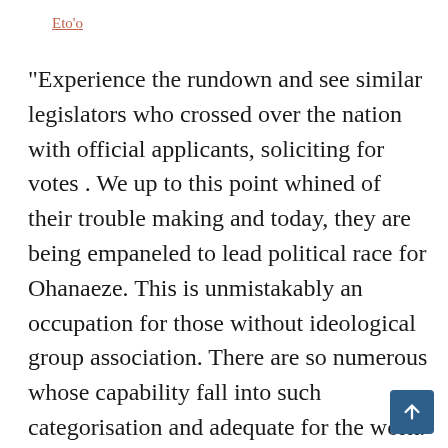Eto'o
“Experience the rundown and see similar legislators who crossed over the nation with official applicants, soliciting for votes . We up to this point whined of their trouble making and today, they are being empaneled to lead political race for Ohanaeze. This is unmistakably an occupation for those without ideological group association. There are so numerous whose capability fall into such categorisation and adequate for the work.
“For those...